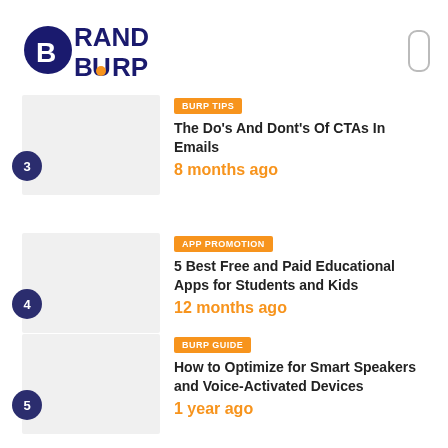[Figure (logo): Brand Burp logo - colorful cartoon-style text logo with orange and dark blue colors]
3 | BURP TIPS | The Do's And Dont's Of CTAs In Emails | 8 months ago
4 | APP PROMOTION | 5 Best Free and Paid Educational Apps for Students and Kids | 12 months ago
5 | BURP GUIDE | How to Optimize for Smart Speakers and Voice-Activated Devices | 1 year ago